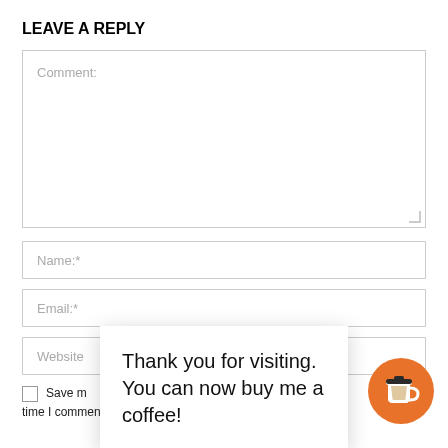LEAVE A REPLY
[Figure (screenshot): Comment textarea input field with placeholder text 'Comment:' and resize handle]
[Figure (screenshot): Name input field with placeholder text 'Name:*']
[Figure (screenshot): Email input field with placeholder text 'Email:*']
[Figure (screenshot): Website input field with placeholder text 'Website' partially visible]
Thank you for visiting. You can now buy me a coffee!
[Figure (illustration): Orange circular coffee cup button icon]
Save m... for th... time I comment.